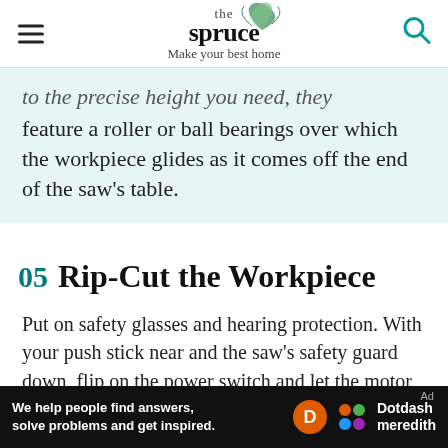the spruce — Make your best home
to the precise height you need, they feature a roller or ball bearings over which the workpiece glides as it comes off the end of the saw's table.
05 Rip-Cut the Workpiece
Put on safety glasses and hearing protection. With your push stick near and the saw's safety guard down, flip on the power switch and let the motor come to full speed
Ad — We help people find answers, solve problems and get inspired. Dotdash meredith